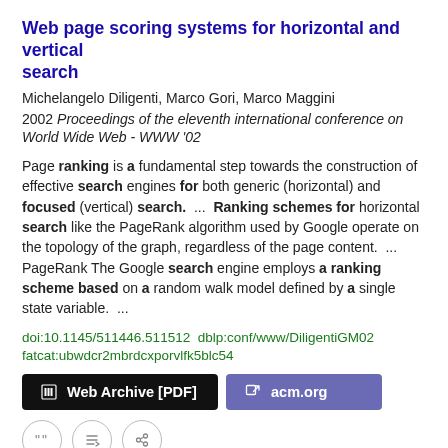Web page scoring systems for horizontal and vertical search
Michelangelo Diligenti, Marco Gori, Marco Maggini
2002 Proceedings of the eleventh international conference on World Wide Web - WWW '02
Page ranking is a fundamental step towards the construction of effective search engines for both generic (horizontal) and focused (vertical) search.  ...  Ranking schemes for horizontal search like the PageRank algorithm used by Google operate on the topology of the graph, regardless of the page content.  ...  PageRank The Google search engine employs a ranking scheme based on a random walk model defined by a single state variable.  ...
doi:10.1145/511446.511512  dblp:conf/www/DiligentiGM02
fatcat:ubwdcr2mbrdcxporvlfk5blc54
[Figure (other): Two action buttons: 'Web Archive [PDF]' (black) and 'acm.org' (purple) and three circle icon buttons below]
Web page scoring systems for horizontal and vertical search